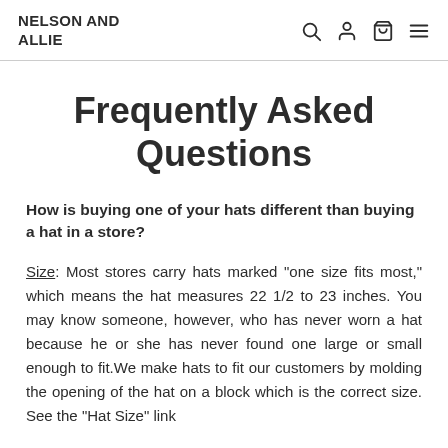NELSON AND ALLIE
Frequently Asked Questions
How is buying one of your hats different than buying a hat in a store?
Size: Most stores carry hats marked "one size fits most," which means the hat measures 22 1/2 to 23 inches. You may know someone, however, who has never worn a hat because he or she has never found one large or small enough to fit.We make hats to fit our customers by molding the opening of the hat on a block which is the correct size. See the "Hat Size" link